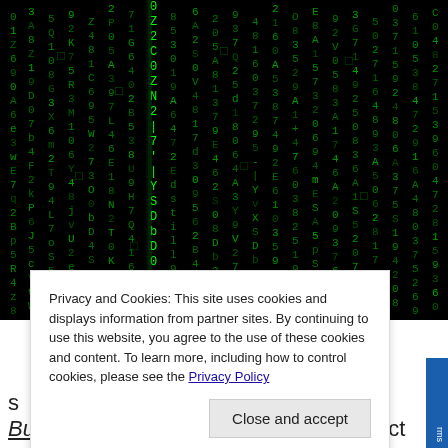[Figure (photo): Matrix-style falling green characters/code on black background]
Privacy and Cookies: This site uses cookies and displays information from partner sites. By continuing to use this website, you agree to the use of these cookies and content. To learn more, including how to control cookies, please see the Privacy Policy
Close and accept
s
Bulletin, require you to use Digital Object